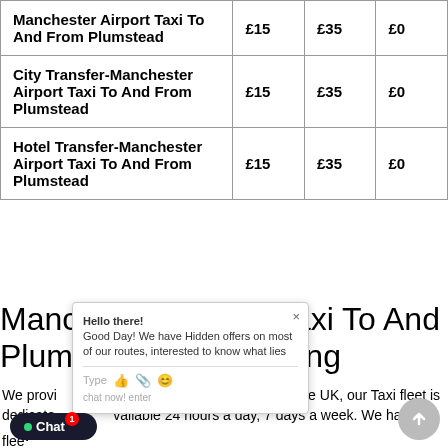| Manchester Airport Taxi To And From Plumstead | £15 | £35 | £0 |
| City Transfer-Manchester Airport Taxi To And From Plumstead | £15 | £35 | £0 |
| Hotel Transfer-Manchester Airport Taxi To And From Plumstead | £15 | £35 | £0 |
Manchester Airport Taxi To And From Plumstead Taxi Booking
We provide Taxi services in and around the UK, our Taxi fleet is dedicated available 24 hours a day, 7 days a week. We have a fleet of vehicles to suit all your needs, ranging from saloon car, Estate cabs, MPV and executive cars are available with us. Our taxis are clean an...